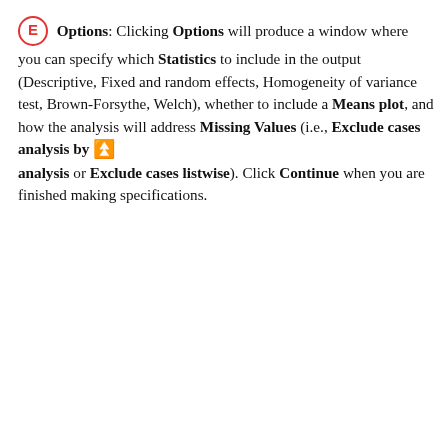E Options: Clicking Options will produce a window where you can specify which Statistics to include in the output (Descriptive, Fixed and random effects, Homogeneity of variance test, Brown-Forsythe, Welch), whether to include a Means plot, and how the analysis will address Missing Values (i.e., Exclude cases analysis by analysis or Exclude cases listwise). Click Continue when you are finished making specifications.
[Figure (screenshot): One-Way ANOVA: Options dialog box showing Statistics group with checkboxes for Descriptive, Fixed and random effects, and partially visible Homogeneity of variance test]